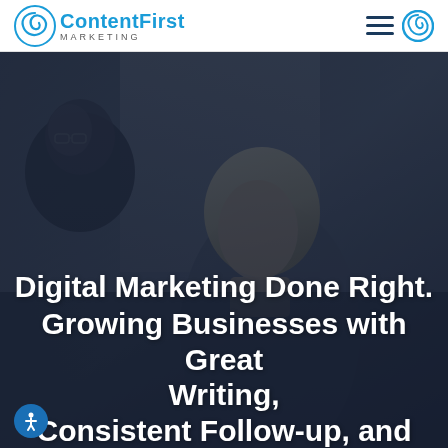Content First MARKETING
[Figure (photo): Two people in a business meeting looking downward, dark overlay applied over photo]
Digital Marketing Done Right. Growing Businesses with Great Writing, Consistent Follow-up, and